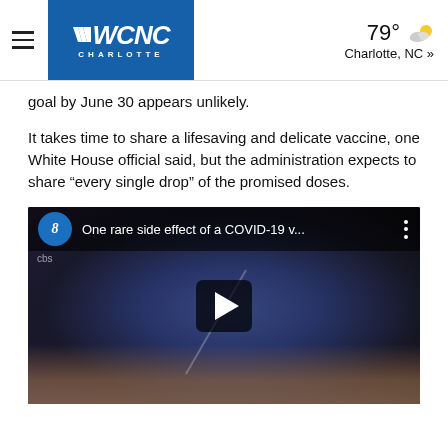WCNC Charlotte | 79° Charlotte, NC »
goal by June 30 appears unlikely.
It takes time to share a lifesaving and delicate vaccine, one White House official said, but the administration expects to share “every single drop” of the promised doses.
[Figure (screenshot): Embedded video player showing a gloved hand with a COVID-19 vaccine vial and syringe. Video title reads: 'One rare side effect of a COVID-19 v...' with CBS 8 logo.]